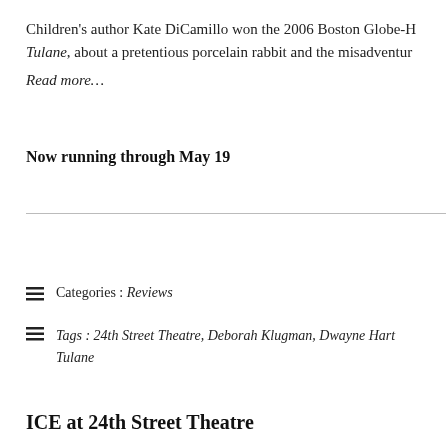Children's author Kate DiCamillo won the 2006 Boston Globe-H... Tulane, about a pretentious porcelain rabbit and the misadventur... Read more…
Now running through May 19
Categories : Reviews
Tags : 24th Street Theatre, Deborah Klugman, Dwayne Hart... Tulane
ICE at 24th Street Theatre